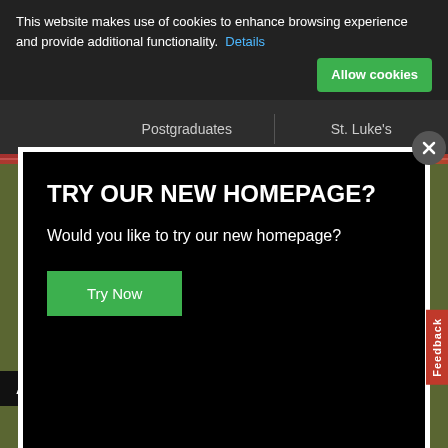This website makes use of cookies to enhance browsing experience and provide additional functionality.  Details
Allow cookies
Postgraduates
St. Luke's
TRY OUR NEW HOMEPAGE?
Would you like to try our new homepage?
Try Now
Feedback
Sat 18 September 2021 10:00-16:00
Starting at the Great Hall
Accessibility Tools
Join us at Streatham Freshers' Fair on Friday 17...